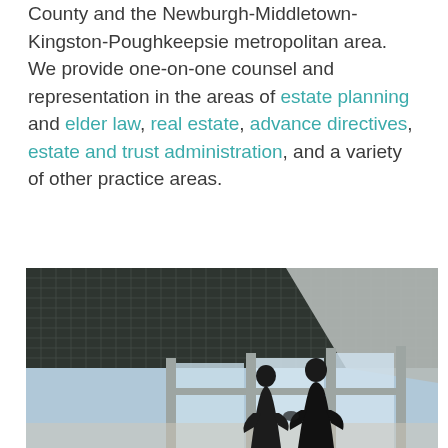County and the Newburgh-Middletown-Kingston-Poughkeepsie metropolitan area. We provide one-on-one counsel and representation in the areas of estate planning and elder law, real estate, advance directives, estate and trust administration, and a variety of other practice areas.
[Figure (photo): Two people silhouetted shaking hands in a modern building lobby with large floor-to-ceiling glass windows and a grid-pattern ceiling.]